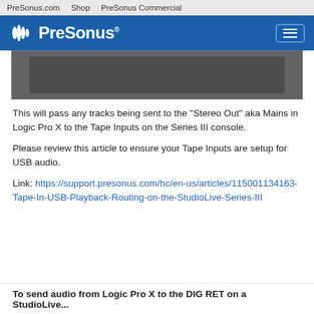PreSonus.com   Shop   PreSonus Commercial
[Figure (screenshot): PreSonus website header with blue background, PreSonus logo, and hamburger menu button]
[Figure (screenshot): Partial screenshot of a dark gray device or software interface panel]
This will pass any tracks being sent to the "Stereo Out" aka Mains in Logic Pro X to the Tape Inputs on the Series III console.
Please review this article to ensure your Tape Inputs are setup for USB audio.
Link: https://support.presonus.com/hc/en-us/articles/115001134163-Tape-In-USB-Playback-Routing-on-the-StudioLive-Series-III
To send audio from Logic Pro X to the DIG RET on a StudioLive...